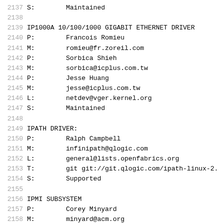2137  S:        Maintained
2138  (empty)
2139  IP1000A 10/100/1000 GIGABIT ETHERNET DRIVER
2140  P:        Francois Romieu
2141  M:        romieu@fr.zoreil.com
2142  P:        Sorbica Shieh
2143  M:        sorbica@icplus.com.tw
2144  P:        Jesse Huang
2145  M:        jesse@icplus.com.tw
2146  L:        netdev@vger.kernel.org
2147  S:        Maintained
2148  (empty)
2149  IPATH DRIVER:
2150  P:        Ralph Campbell
2151  M:        infinipath@qlogic.com
2152  L:        general@lists.openfabrics.org
2153  T:        git git://git.qlogic.com/ipath-linux-2.
2154  S:        Supported
2155  (empty)
2156  IPMI SUBSYSTEM
2157  P:        Corey Minyard
2158  M:        minyard@acm.org